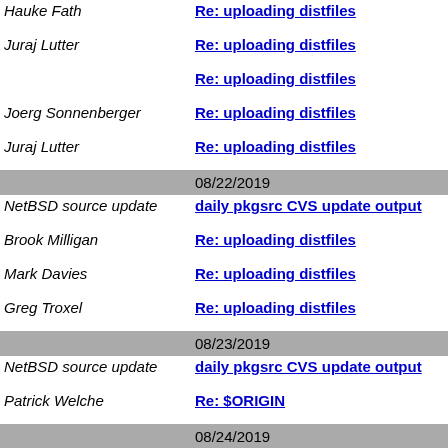Hauke Fath — Re: uploading distfiles
Juraj Lutter — Re: uploading distfiles
(no name) — Re: uploading distfiles
Joerg Sonnenberger — Re: uploading distfiles
Juraj Lutter — Re: uploading distfiles
08/22/2019
NetBSD source update — daily pkgsrc CVS update output
Brook Milligan — Re: uploading distfiles
Mark Davies — Re: uploading distfiles
Greg Troxel — Re: uploading distfiles
08/23/2019
NetBSD source update — daily pkgsrc CVS update output
Patrick Welche — Re: $ORIGIN
08/24/2019
Brook Milligan — Re: uploading distfiles
NetBSD source update — daily pkgsrc CVS update output
(no name) — Adding kerTeX; but needs avoiding configure etc.
Greg Troxel — Re: Adding kerTeX; but needs avoiding configure etc.
(no name) — Re: Adding kerTeX; but needs